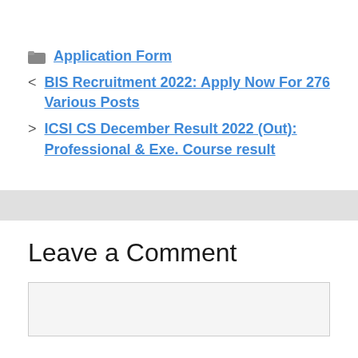Application Form
BIS Recruitment 2022: Apply Now For 276 Various Posts
ICSI CS December Result 2022 (Out): Professional & Exe. Course result
Leave a Comment